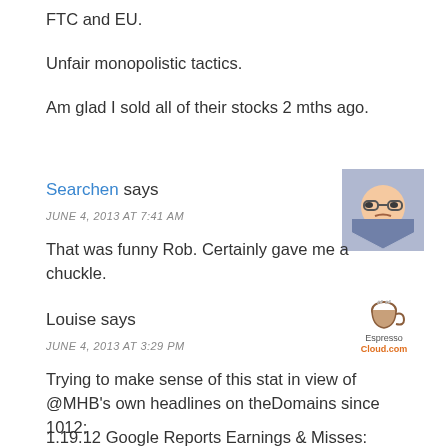FTC and EU.
Unfair monopolistic tactics.
Am glad I sold all of their stocks 2 mths ago.
Searchen says
JUNE 4, 2013 AT 7:41 AM
[Figure (illustration): Avatar of user Searchen — a hexagonal icon with a cartoon face wearing glasses]
That was funny Rob. Certainly gave me a chuckle.
Louise says
JUNE 4, 2013 AT 3:29 PM
[Figure (logo): EspressoCloud.com logo with a coffee cup icon]
Trying to make sense of this stat in view of @MHB's own headlines on theDomains since 1012:
1.19.12 Google Reports Earnings & Misses: Clicks Up